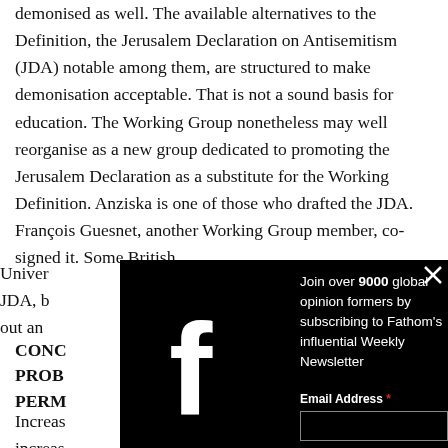demonised as well. The available alternatives to the Definition, the Jerusalem Declaration on Antisemitism (JDA) notable among them, are structured to make demonisation acceptable. That is not a sound basis for education. The Working Group nonetheless may well reorganise as a new group dedicated to promoting the Jerusalem Declaration as a substitute for the Working Definition. Anziska is one of those who drafted the JDA. François Guesnet, another Working Group member, co-signed it. Some British Universities have adopted the JDA, but it is too early to rule out an...
[Figure (screenshot): Black modal popup overlay with Facebook logo on left side, newsletter subscription prompt reading 'Join over 9000 global opinion formers by subscribing to Fathom's influential Weekly Newsletter', an Email Address field with red asterisk, and a close X button in top right corner.]
CONCLUSION: THE
PROBLEM IS NOT
PERMANENT
Increasingly, the UK's universities increasingly host debate... There